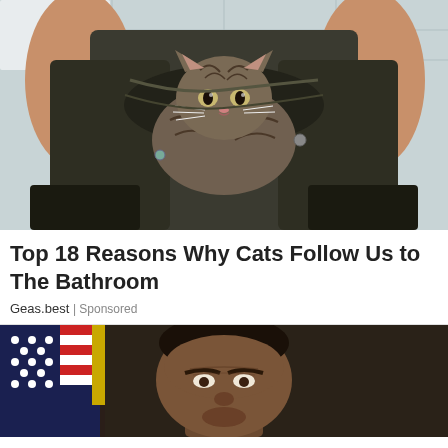[Figure (photo): A tabby cat sitting inside a person's pants/trousers while the person is seated on a toilet, viewed from above. The cat peeks out from between the dark fabric legs.]
Top 18 Reasons Why Cats Follow Us to The Bathroom
Geas.best | Sponsored
[Figure (photo): A man's face partially visible at the bottom of the frame, with an American flag with gold fringe visible in the background to his left.]